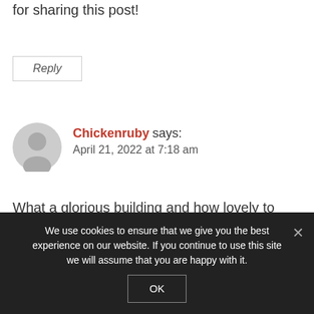for sharing this post!
Reply
Chickenruby says:
April 21, 2022 at 7:18 am
What a glorious building and how lovely to have a family name connection to it
Reply
We use cookies to ensure that we give you the best experience on our website. If you continue to use this site we will assume that you are happy with it.
OK